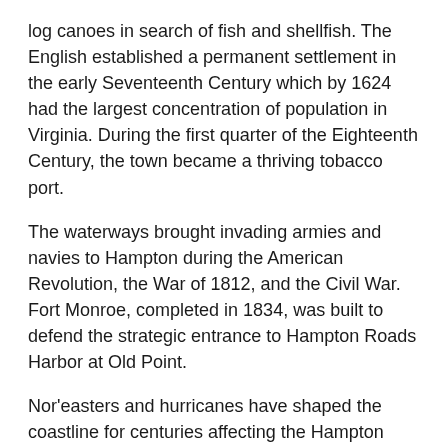log canoes in search of fish and shellfish. The English established a permanent settlement in the early Seventeenth Century which by 1624 had the largest concentration of population in Virginia. During the first quarter of the Eighteenth Century, the town became a thriving tobacco port.
The waterways brought invading armies and navies to Hampton during the American Revolution, the War of 1812, and the Civil War. Fort Monroe, completed in 1834, was built to defend the strategic entrance to Hampton Roads Harbor at Old Point.
Nor'easters and hurricanes have shaped the coastline for centuries affecting the Hampton sandbar, flooding the town, and destroying the Grandview Lighthouse, but conversely the sea breezes and inviting waters have attracted prosperous hotels, popular beach resorts, and noted Americans to enjoy the temperate climate.